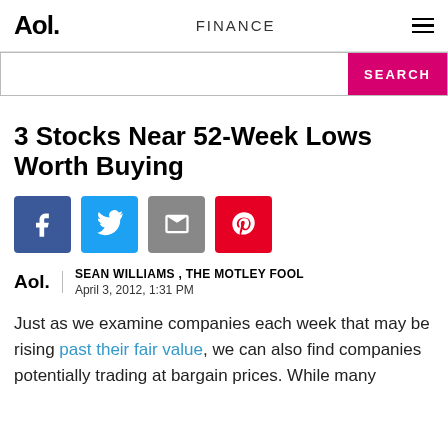Aol. | FINANCE
[Figure (screenshot): Search bar with pink SEARCH button]
3 Stocks Near 52-Week Lows Worth Buying
[Figure (infographic): Social share buttons: Facebook, Twitter, Email, Pinterest]
SEAN WILLIAMS , THE MOTLEY FOOL
April 3, 2012, 1:31 PM
Just as we examine companies each week that may be rising past their fair value, we can also find companies potentially trading at bargain prices. While many